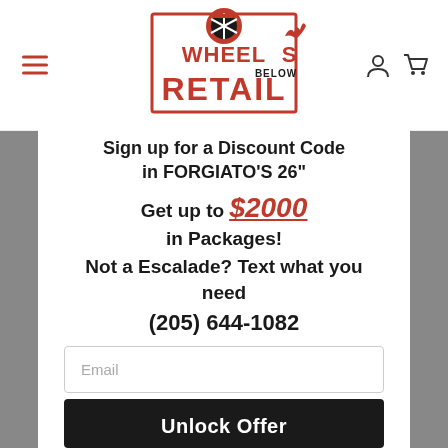[Figure (logo): Wheels Below Retail logo with flaming tire graphic, red and black text in a red outlined rectangle]
Sign up for a Discount Code in FORGIATO'S 26"
Get up to $2000 in Packages!
Not a Escalade? Text what you need
(205) 644-1082
Email
Unlock Offer